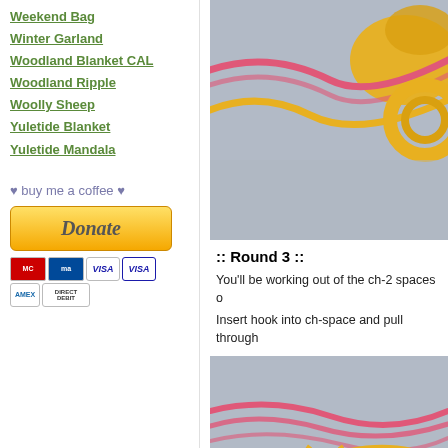Weekend Bag
Winter Garland
Woodland Blanket CAL
Woodland Ripple
Woolly Sheep
Yuletide Blanket
Yuletide Mandala
♥ buy me a coffee ♥
[Figure (screenshot): Donate button with PayPal and payment card icons (Mastercard, Maestro, Visa, American Express, Direct Debit)]
[Figure (photo): Close-up of pink and yellow crochet yarn stitches on grey background, top photo]
:: Round 3 ::
You'll be working out of the ch-2 spaces o
Insert hook into ch-space and pull through
[Figure (photo): Close-up of pink and yellow crochet yarn on grey background, bottom photo showing loose strands]